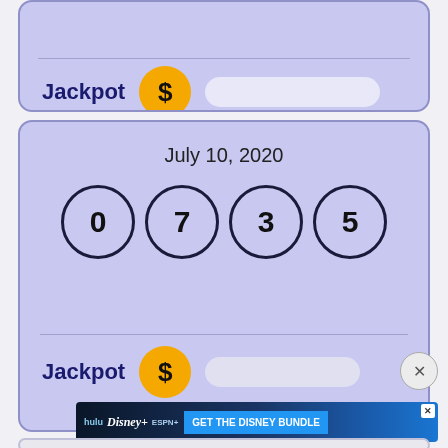[Figure (screenshot): Top portion of a lottery results card showing Jackpot label with dollar circle icon and amount bar, on a purple background]
[Figure (screenshot): Lottery results card for July 10, 2020 showing winning numbers 0, 7, 3, 5 in circle balls on purple background with Jackpot row below]
[Figure (screenshot): Disney Bundle advertisement banner with Hulu, Disney+, ESPN+ logos and GET THE DISNEY BUNDLE call to action]